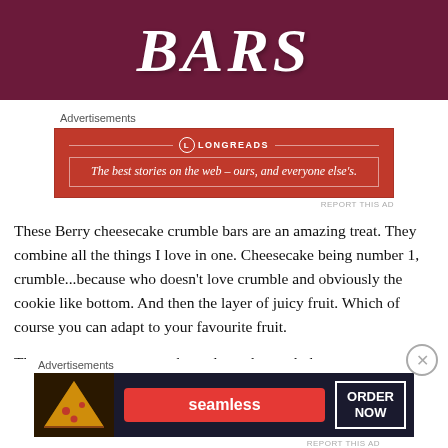[Figure (illustration): Dark purple/maroon banner with large italic white text reading 'BARS' (and partial letters above suggesting 'CRUMBLE BARS')]
Advertisements
[Figure (other): Longreads advertisement: red background with Longreads logo and text 'The best stories on the web – ours, and everyone else's.']
These Berry cheesecake crumble bars are an amazing treat. They combine all the things I love in one. Cheesecake being number 1, crumble...because who doesn't love crumble and obviously the cookie like bottom. And then the layer of juicy fruit. Which of course you can adapt to your favourite fruit.
They are super easy to make and a real crowd pleaser too.
Advertisements
[Figure (other): Seamless food delivery advertisement with pizza image, Seamless red button, and ORDER NOW button on dark background]